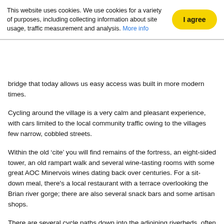This website uses cookies. We use cookies for a variety of purposes, including collecting information about site usage, traffic measurement and analysis. More info
bridge that today allows us easy access was built in more modern times.
Cycling around the village is a very calm and pleasant experience, with cars limited to the local community traffic owing to the villages few narrow, cobbled streets.
Within the old ‘cite’ you will find remains of the fortress, an eight-sided tower, an old rampart walk and several wine-tasting rooms with some great AOC Minervois wines dating back over centuries. For a sit-down meal, there's a local restaurant with a terrace overlooking the Brian river gorge; there are also several snack bars and some artisan shops.
There are several cycle paths down into the adjoining riverbeds, often dry and empty of water, making it easy to glide through the underground passageways and explore natural and man-made caves. One of the passageways sits beneath a limestone vault leading to the postern, a column built in memory of the Cathar downfall. And yet another cave runs through the mountainside, cut by the old river and now a mass of balancing stones piled one atop the other in honor of all